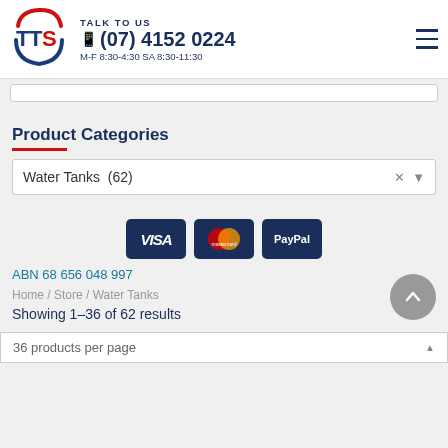[Figure (logo): TTS logo with circular red/blue swoosh and TTS letters in blue/red]
TALK TO US
(07) 4152 0224
M-F 8:30-4:30 SA 8:30-11:30
Product Categories
Water Tanks  (62)
[Figure (other): Payment method icons: VISA, Mastercard, PayPal]
ABN 68 656 048 997
Home / Store / Water Tanks
Showing 1–36 of 62 results
36 products per page